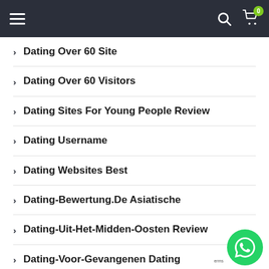Navigation bar with hamburger menu, search icon, and cart with badge 0
Dating Over 60 Site
Dating Over 60 Visitors
Dating Sites For Young People Review
Dating Username
Dating Websites Best
Dating-Bewertung.De Asiatische
Dating-Uit-Het-Midden-Oosten Review
Dating-Voor-Gevangenen Dating